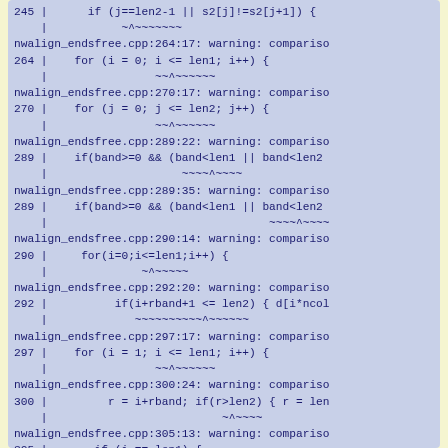Compiler warning output showing comparison warnings in nwalign_endsfree.cpp at multiple line numbers (245, 264, 270, 289, 290, 292, 297, 300, 305)